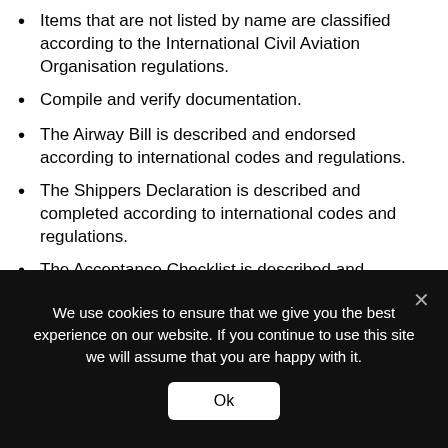Items that are not listed by name are classified according to the International Civil Aviation Organisation regulations.
Compile and verify documentation.
The Airway Bill is described and endorsed according to international codes and regulations.
The Shippers Declaration is described and completed according to international codes and regulations.
The Acceptance Checklist is described and completed according to international codes and regulations.
The Notification to Captain is described and completed according to international codes and regulations.
Documentation to be retained is identified and
We use cookies to ensure that we give you the best experience on our website. If you continue to use this site we will assume that you are happy with it.